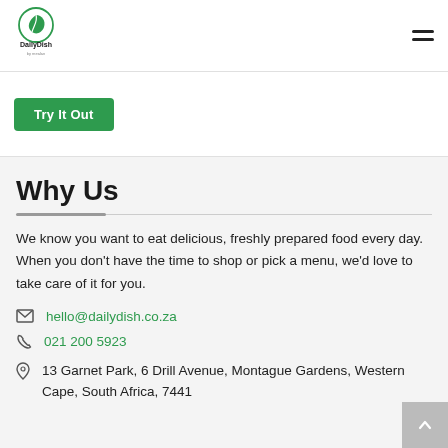DailyDish — navigation bar with logo and hamburger menu
[Figure (logo): DailyDish green leaf logo with company name]
Try It Out
Why Us
We know you want to eat delicious, freshly prepared food every day. When you don't have the time to shop or pick a menu, we'd love to take care of it for you.
hello@dailydish.co.za
021 200 5923
13 Garnet Park, 6 Drill Avenue, Montague Gardens, Western Cape, South Africa, 7441